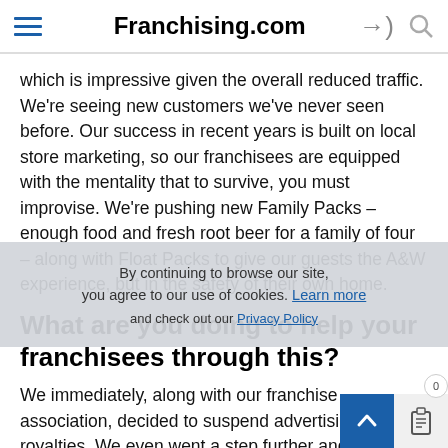Franchising.com
which is impressive given the overall reduced traffic. We're seeing new customers we've never seen before. Our success in recent years is built on local store marketing, so our franchisees are equipped with the mentality that to survive, you must improvise. We're pushing new Family Packs – enough food and fresh root beer for a family of four – along with Float Packs to give our guests the A&W experience, but in the safety of their own home.
What are you doing to help your franchisees through this?
We immediately, along with our franchise association, decided to suspend advertising and royalties. We even went a step further and refunded the balance in each restaurant's marketing fund. Given our ownership structure